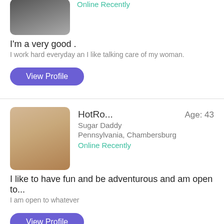[Figure (photo): Blurred profile photo of a person, top of page]
Online Recently
I'm a very good .
I work hard everyday an I like talking care of my woman.
View Profile
[Figure (photo): Blurred profile photo of HotRo..., middle-aged person with light hair]
HotRo...
Age: 43
Sugar Daddy
Pennsylvania, Chambersburg
Online Recently
I like to have fun and be adventurous and am open to...
I am open to whatever
View Profile
[Figure (photo): Blurred profile photo of Hot_4..., partially visible at bottom]
Hot_4...
Age: 45
Sugar Daddy